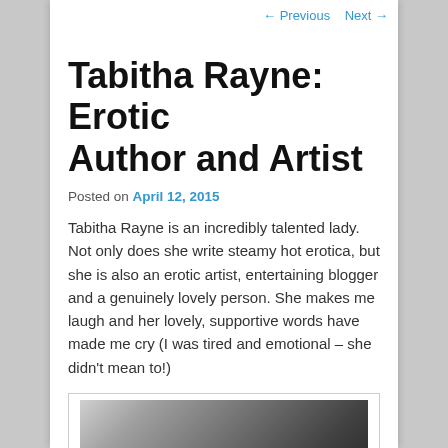← Previous   Next →
Tabitha Rayne: Erotic Author and Artist
Posted on April 12, 2015
Tabitha Rayne is an incredibly talented lady. Not only does she write steamy hot erotica, but she is also an erotic artist, entertaining blogger and a genuinely lovely person. She makes me laugh and her lovely, supportive words have made me cry (I was tired and emotional – she didn't mean to!)
[Figure (photo): Black and white photograph, partially visible at bottom of page]